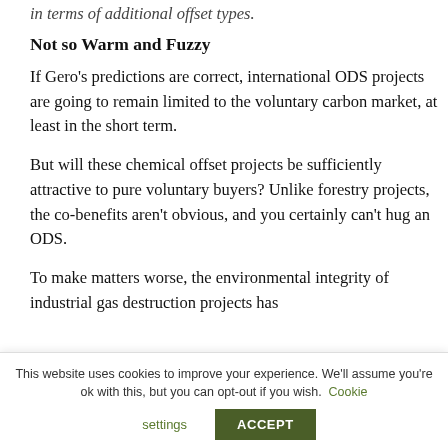in terms of additional offset types.
Not so Warm and Fuzzy
If Gero’s predictions are correct, international ODS projects are going to remain limited to the voluntary carbon market, at least in the short term.
But will these chemical offset projects be sufficiently attractive to pure voluntary buyers? Unlike forestry projects, the co-benefits aren’t obvious, and you certainly can’t hug an ODS.
To make matters worse, the environmental integrity of industrial gas destruction projects has
This website uses cookies to improve your experience. We’ll assume you’re ok with this, but you can opt-out if you wish. Cookie settings ACCEPT